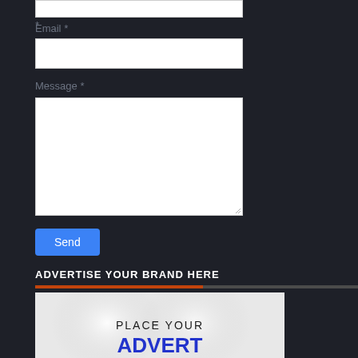Email *
Message *
Send
ADVERTISE YOUR BRAND HERE
[Figure (illustration): Advertisement placeholder image with text 'PLACE YOUR ADVERT' on a light grey background with circular gradient highlights]